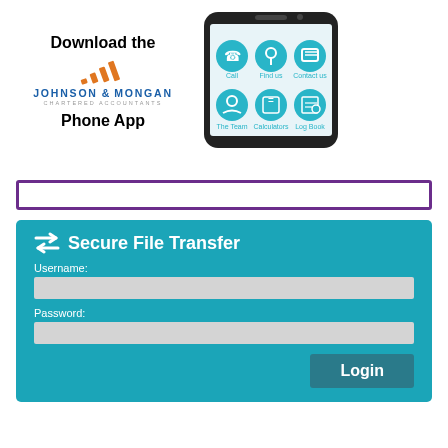[Figure (logo): Johnson & Mongan Chartered Accountants logo with orange/gold diagonal stripe marks above the company name text]
Download the
Phone App
[Figure (screenshot): Smartphone mockup showing a mobile app interface with 6 circular icon buttons: Call, Find us, Contact us, The Team, Calculators, Log Book]
[Figure (other): Purple-bordered empty search/input bar]
[Figure (infographic): Teal Secure File Transfer login panel with username field, password field, and Login button]